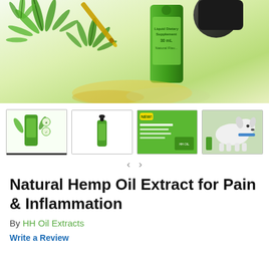[Figure (photo): Product photo of hemp oil extract bottle (30mL Liquid Dietary Supplement, Natural Flavor) surrounded by hemp leaves and a dropper with golden oil on a white/yellow-green background.]
[Figure (photo): Thumbnail 1: Hemp oil bottle with hemp leaves and badge icons, active selection indicated by underline.]
[Figure (photo): Thumbnail 2: Single small green hemp oil dropper bottle on white background.]
[Figure (photo): Thumbnail 3: Green label product image with 'NEW' badge and descriptive text.]
[Figure (photo): Thumbnail 4: White dog wearing blue collar outdoors with green hemp product bottle nearby.]
Natural Hemp Oil Extract for Pain & Inflammation
By HH Oil Extracts
Write a Review